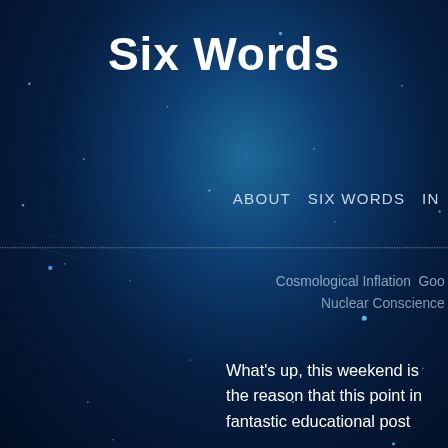Six Words
ABOUT   SIX WORDS   IN
Cosmological Inflation   Goo
Nuclear Conscience
What's up, this weekend is the reason that this point in fantastic educational post
Reply
more information says:
February 3, 2015 at 7:18 a
I just like the valuable info
I'll bookmark your weblog
I am quite sure I will learn